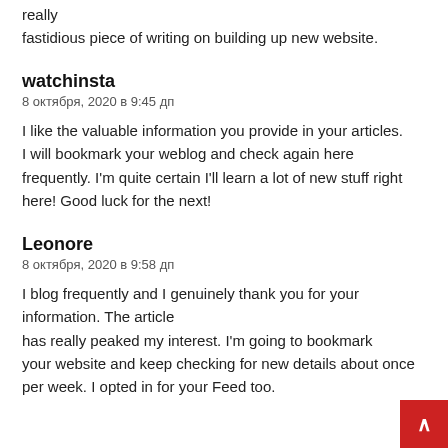really
fastidious piece of writing on building up new website.
watchinsta
8 октября, 2020 в 9:45 дп
I like the valuable information you provide in your articles. I will bookmark your weblog and check again here frequently. I'm quite certain I'll learn a lot of new stuff right here! Good luck for the next!
Leonore
8 октября, 2020 в 9:58 дп
I blog frequently and I genuinely thank you for your information. The article has really peaked my interest. I'm going to bookmark your website and keep checking for new details about once per week. I opted in for your Feed too.